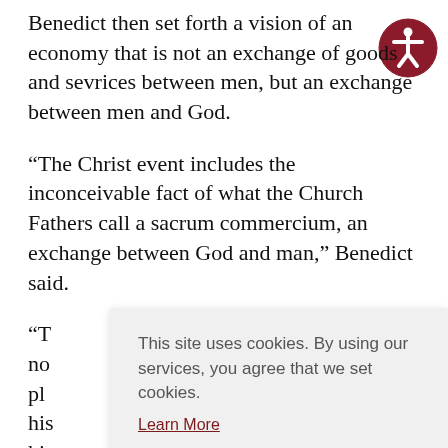Benedict then set forth a vision of an economy that is not an exchange of goods and sevrices between men, but an exchange between men and God.
“The Christ event includes the inconceivable fact of what the Church Fathers call a sacrum commercium, an exchange between God and man,” Benedict said.
“T… no… pl… his… his… br… Christ.
This site uses cookies. By using our services, you agree that we set cookies. Learn More
Agree